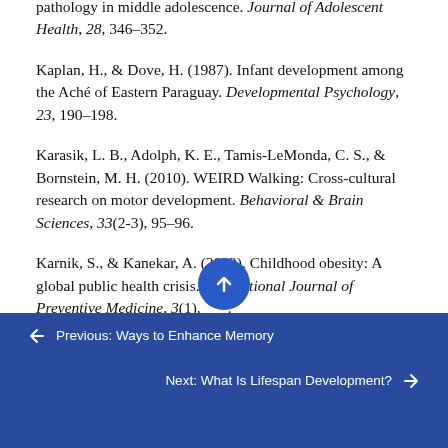pathology in middle adolescence. Journal of Adolescent Health, 28, 346–352.
Kaplan, H., & Dove, H. (1987). Infant development among the Aché of Eastern Paraguay. Developmental Psychology, 23, 190–198.
Karasik, L. B., Adolph, K. E., Tamis-LeMonda, C. S., & Bornstein, M. H. (2010). WEIRD Walking: Cross-cultural research on motor development. Behavioral & Brain Sciences, 33(2-3), 95–96.
Karnik, S., & Kanekar, A. (2012). Childhood obesity: A global public health crisis. International Journal of Preventive Medicine, 3(1),...
← Previous: Ways to Enhance Memory
Next: What Is Lifespan Development? →